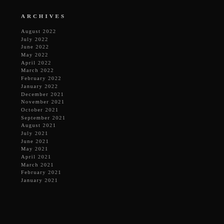ARCHIVES
August 2022
July 2022
June 2022
May 2022
April 2022
March 2022
February 2022
January 2022
December 2021
November 2021
October 2021
September 2021
August 2021
July 2021
June 2021
May 2021
April 2021
March 2021
February 2021
January 2021